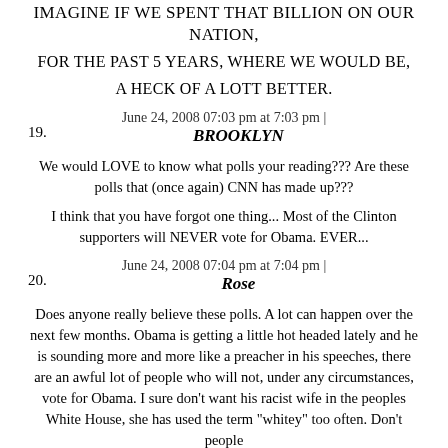IMAGINE IF WE SPENT THAT BILLION ON OUR NATION,
FOR THE PAST 5 YEARS, WHERE WE WOULD BE,
A HECK OF A LOTT BETTER.
June 24, 2008 07:03 pm at 7:03 pm |
19. BROOKLYN
We would LOVE to know what polls your reading??? Are these polls that (once again) CNN has made up???
I think that you have forgot one thing... Most of the Clinton supporters will NEVER vote for Obama. EVER...
June 24, 2008 07:04 pm at 7:04 pm |
20. Rose
Does anyone really believe these polls. A lot can happen over the next few months. Obama is getting a little hot headed lately and he is sounding more and more like a preacher in his speeches, there are an awful lot of people who will not, under any circumstances, vote for Obama. I sure don't want his racist wife in the peoples White House, she has used the term "whitey" too often. Don't people